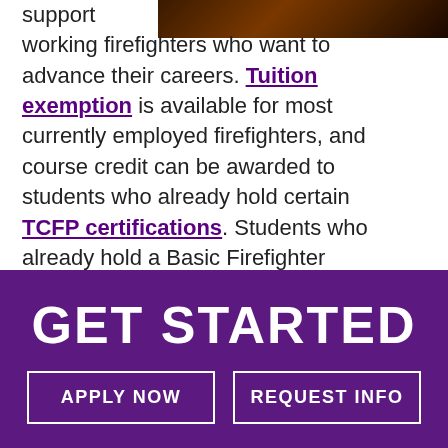[Figure (photo): Dark photograph of firefighters, partially visible at top right corner of page]
support working firefighters who want to advance their careers. Tuition exemption is available for most currently employed firefighters, and course credit can be awarded to students who already hold certain TCFP certifications. Students who already hold a Basic Firefighter certificate are able to test for TCFP upper-level certifications upon graduation.
GET STARTED
APPLY NOW
REQUEST INFO